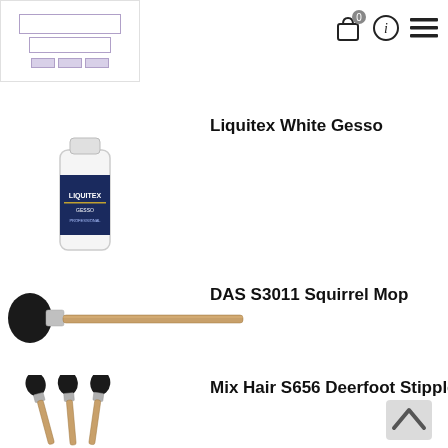[Figure (screenshot): Website header with logo (white/purple art supply store logo) on the left and navigation icons (shopping bag with 0, info circle, hamburger menu) on the right]
[Figure (photo): Bottle of Liquitex White Gesso product]
Liquitex White Gesso
[Figure (photo): DAS S3011 Squirrel Mop paint brush with round dark bristle head and long wooden handle]
DAS S3011 Squirrel Mop
[Figure (photo): Set of Mix Hair S656 Deerfoot Stippler brushes with dark stippler heads and wooden handles]
Mix Hair S656 Deerfoot Stippler